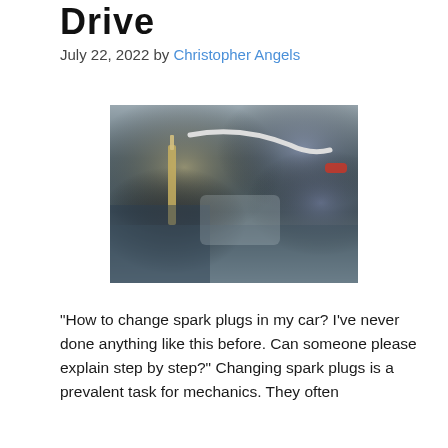Drive
July 22, 2022 by Christopher Angels
[Figure (photo): Close-up photo of gloved hands working on a car engine, handling a spark plug with a tool]
“How to change spark plugs in my car? I’ve never done anything like this before. Can someone please explain step by step?” Changing spark plugs is a prevalent task for mechanics. They often